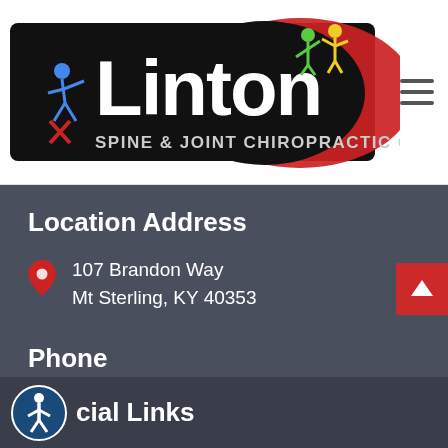[Figure (logo): Linton Spine & Joint Chiropractic Center logo — black and red banner with white 'Linton' text and stick figures]
Location Address
107 Brandon Way
Mt Sterling, KY 40353
Phone
(859) 499-1009
Social Links